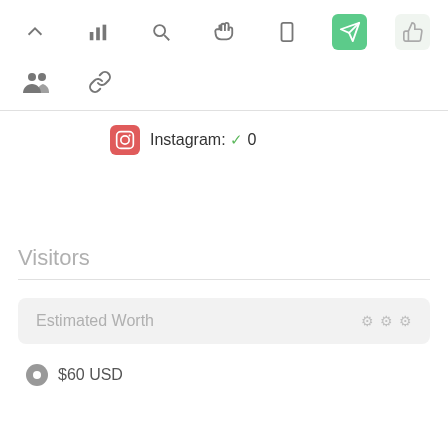[Figure (screenshot): Toolbar row with icons: chevron up, bar chart, search, hand cursor, mobile, green rocket/send button (active), thumbs up (light background)]
[Figure (screenshot): Second toolbar row with icons: group/people icon, link/chain icon]
Instagram: ✓ 0
Visitors
Estimated Worth
$60 USD